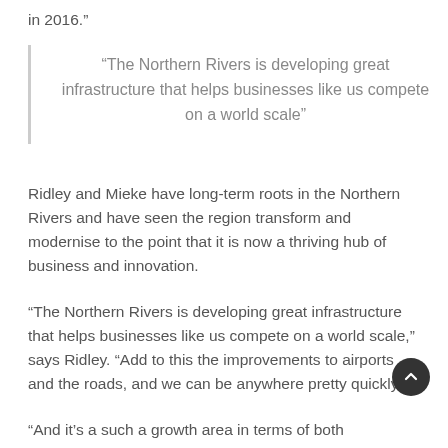in 2016.”
“The Northern Rivers is developing great infrastructure that helps businesses like us compete on a world scale”
Ridley and Mieke have long-term roots in the Northern Rivers and have seen the region transform and modernise to the point that it is now a thriving hub of business and innovation.
“The Northern Rivers is developing great infrastructure that helps businesses like us compete on a world scale,” says Ridley. “Add to this the improvements to airports and the roads, and we can be anywhere pretty quickly.
“And it’s a such a growth area in terms of both